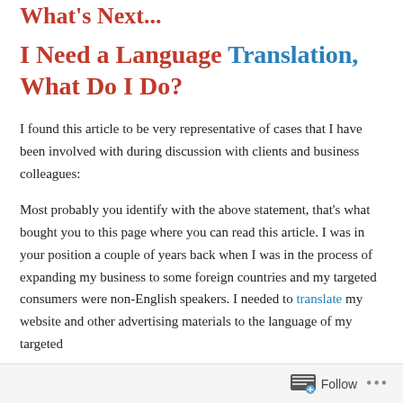What's Next...
I Need a Language Translation, What Do I Do?
I found this article to be very representative of cases that I have been involved with during discussion with clients and business colleagues:
Most probably you identify with the above statement, that's what bought you to this page where you can read this article. I was in your position a couple of years back when I was in the process of expanding my business to some foreign countries and my targeted consumers were non-English speakers. I needed to translate my website and other advertising materials to the language of my targeted
Follow ...